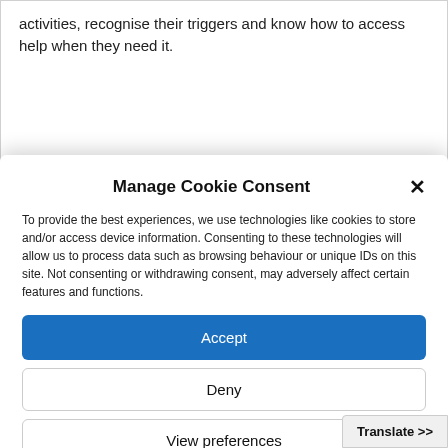activities, recognise their triggers and know how to access help when they need it.
Manage Cookie Consent
To provide the best experiences, we use technologies like cookies to store and/or access device information. Consenting to these technologies will allow us to process data such as browsing behaviour or unique IDs on this site. Not consenting or withdrawing consent, may adversely affect certain features and functions.
Accept
Deny
View preferences
Cookie Policy   Privacy Policy
Translate >>